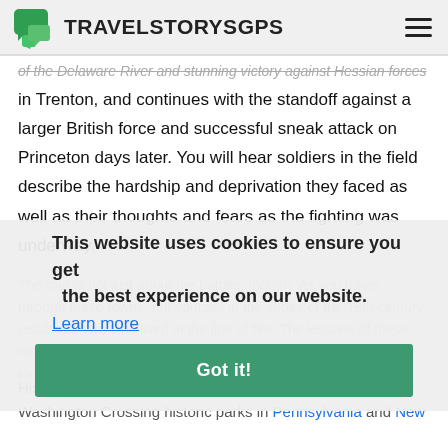TravelStorysGPS
of the Delaware River and stunning victory against Hessian forces in Trenton, and continues with the standoff against a larger British force and successful sneak attack on Princeton days later. You will hear soldiers in the field describe the hardship and deprivation they faced as well as their thoughts and fears as the fighting was underway.
The tour is not just about the battles, though. As you travel through these towns, put yourself in the shoes of the 18th century residents here who lived in the line of fire. The lessons of these momentous events continue to have relevance for Americans today.
This website uses cookies to ensure you get the best experience on our website.
Learn more
Got it!
History will come alive as you visit landmarks such as the Washington Crossing historic parks in Pennsylvania and New